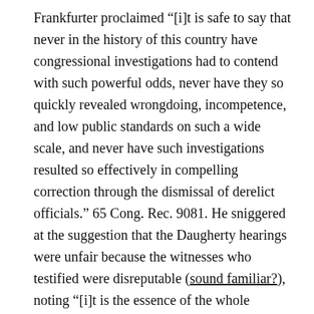Frankfurter proclaimed “[i]t is safe to say that never in the history of this country have congressional investigations had to contend with such powerful odds, never have they so quickly revealed wrongdoing, incompetence, and low public standards on such a wide scale, and never have such investigations resulted so effectively in compelling correction through the dismissal of derelict officials.” 65 Cong. Rec. 9081. He sniggered at the suggestion that the Daugherty hearings were unfair because the witnesses who testified were disreputable (sound familiar?), noting “[i]t is the essence of the whole Daugherty affair that the Attorney General of the United States was involved in questionable association with disreputable characters.” He also rejected the notion that congressional investigations should be subject to rules of evidence or other technical limitations applicable in court, asserting that “[t]he